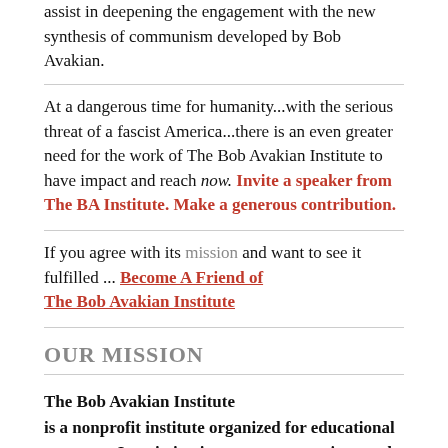assist in deepening the engagement with the new synthesis of communism developed by Bob Avakian.
At a dangerous time for humanity...with the serious threat of a fascist America...there is an even greater need for the work of The Bob Avakian Institute to have impact and reach now. Invite a speaker from The BA Institute. Make a generous contribution.
If you agree with its mission and want to see it fulfilled ... Become A Friend of The Bob Avakian Institute
OUR MISSION
The Bob Avakian Institute is a nonprofit institute organized for educational purposes. Its mission is to preserve, project, and